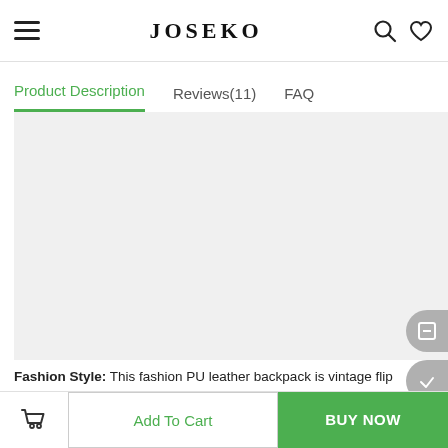JOSEKO
Product Description | Reviews(11) | FAQ
[Figure (other): Light gray product image placeholder area for a PU leather backpack]
Fashion Style: This fashion PU leather backpack is vintage flip cover stylish appearance, drawstring and snap button closure.Has quality construction and a stylish design, this fashionable bag will bring compliments and envy, as it is both practical and chic.
Add To Cart | BUY NOW